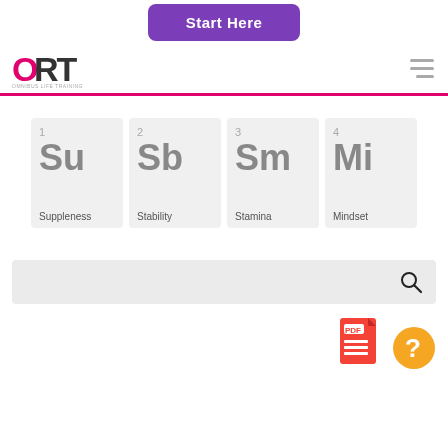[Figure (other): Purple 'Start Here' button at top center]
[Figure (logo): ORT logo with stylized letters and tagline]
[Figure (other): Hamburger menu icon (three horizontal lines)]
[Figure (infographic): Four periodic-table-style element cards: 1 Su Suppleness, 2 Sb Stability, 3 Sm Stamina, 4 Mi Mindset]
[Figure (other): Search bar with magnifying glass icon]
[Figure (other): PDF document icon at bottom right]
[Figure (other): Orange question mark help button at bottom right]